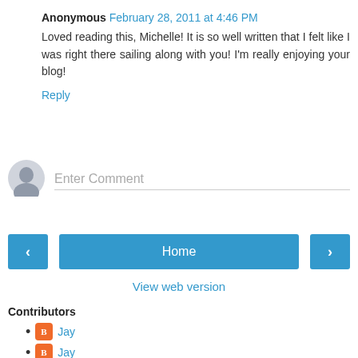Anonymous February 28, 2011 at 4:46 PM
Loved reading this, Michelle! It is so well written that I felt like I was right there sailing along with you! I'm really enjoying your blog!
Reply
Enter Comment
Home
View web version
Contributors
Jay
Jay